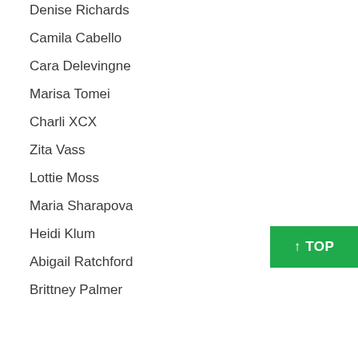Denise Richards
Camila Cabello
Cara Delevingne
Marisa Tomei
Charli XCX
Zita Vass
Lottie Moss
Maria Sharapova
Heidi Klum
Abigail Ratchford
Brittney Palmer